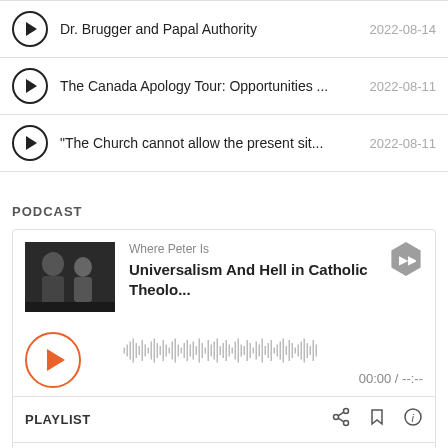Dr. Brugger and Papal Authority  2022-08-14
The Canada Apology Tour: Opportunities ...  2022-08-11
"The Church cannot allow the present sit...  2022-08-11
PODCAST
[Figure (screenshot): Podcast player card showing 'Where Peter Is' podcast with episode 'Universalism And Hell in Catholic Theolo...' with a black and white thumbnail photo of two people, a waveform player showing 00:00 / --:--]
PLAYLIST
Universalism And Hell in Catholic Theology  2022-05-10